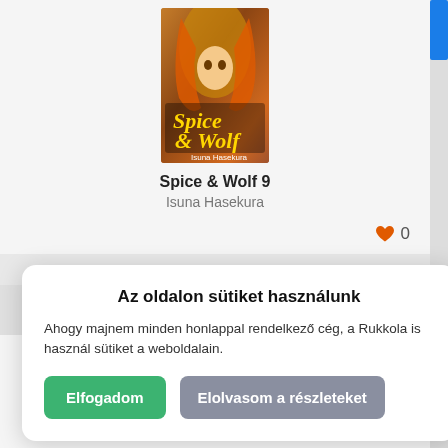[Figure (illustration): Book cover for Spice & Wolf 9 with anime character with long hair]
Spice & Wolf 9
Isuna Hasekura
♥ 0
Az oldalon sütiket használunk
Ahogy majnem minden honlappal rendelkező cég, a Rukkola is használ sütiket a weboldalain.
Elfogadom
Elolvasom a részleteket
Spice & Wolf 11
Isuna Hasekura